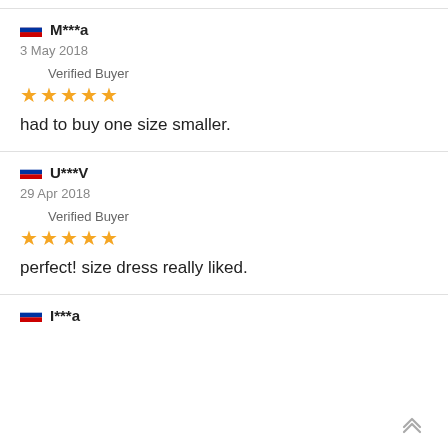M***a — 3 May 2018 — Verified Buyer — ★★★★★ — had to buy one size smaller.
U***V — 29 Apr 2018 — Verified Buyer — ★★★★★ — perfect! size dress really liked.
I***a